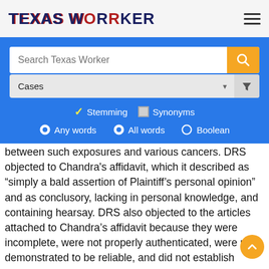TEXAS WORKER
[Figure (screenshot): Search interface with search bar, Cases dropdown filter, Stemming/Synonyms checkboxes, and Any words/All words/Boolean radio buttons on a blue background]
between such exposures and various cancers. DRS objected to Chandra's affidavit, which it described as “simply a bald assertion of Plaintiff’s personal opinion” and as conclusory, lacking in personal knowledge, and containing hearsay. DRS also objected to the articles attached to Chandra’s affidavit because they were incomplete, were not properly authenticated, were not demonstrated to be reliable, and did not establish causation of Chandra’s damages. As a result, DRS asked the